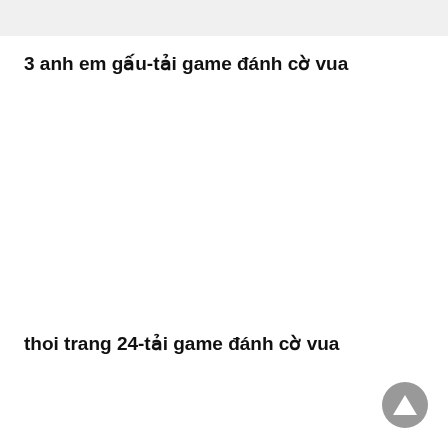3 anh em gấu-tải game đánh cờ vua
thoi trang 24-tải game đánh cờ vua